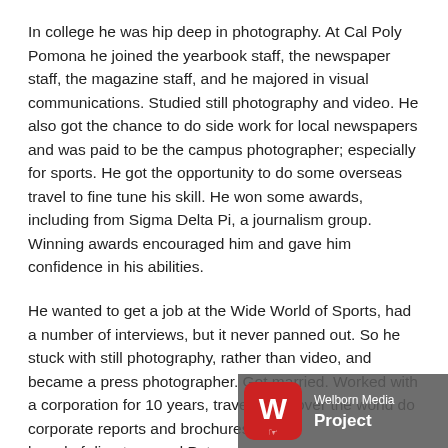In college he was hip deep in photography. At Cal Poly Pomona he joined the yearbook staff, the newspaper staff, the magazine staff, and he majored in visual communications. Studied still photography and video. He also got the chance to do side work for local newspapers and was paid to be the campus photographer; especially for sports. He got the opportunity to do some overseas travel to fine tune his skill. He won some awards, including from Sigma Delta Pi, a journalism group. Winning awards encouraged him and gave him confidence in his abilities.
He wanted to get a job at the Wide World of Sports, had a number of interviews, but it never panned out. So he stuck with still photography, rather than video, and became a press photographer. Got married. Worked with a corporation for 10 years, travelled all over the world do[ing] corporate reports and brochures. G[ot on the] board of directors, and Peter was a...
[Figure (logo): Welborn Media Project logo — red rounded square with white W and hand cursor icon, grey background with white text reading 'Welborn Media Project']